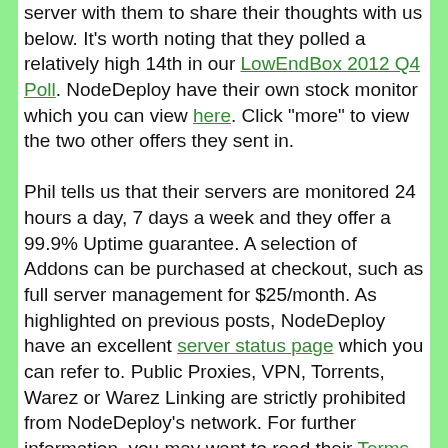server with them to share their thoughts with us below. It's worth noting that they polled a relatively high 14th in our LowEndBox 2012 Q4 Poll. NodeDeploy have their own stock monitor which you can view here. Click "more" to view the two other offers they sent in.

Phil tells us that their servers are monitored 24 hours a day, 7 days a week and they offer a 99.9% Uptime guarantee. A selection of Addons can be purchased at checkout, such as full server management for $25/month. As highlighted on previous posts, NodeDeploy have an excellent server status page which you can refer to. Public Proxies, VPN, Torrents, Warez or Warez Linking are strictly prohibited from NodeDeploy's network. For further information, you may want to read their Terms of Service.